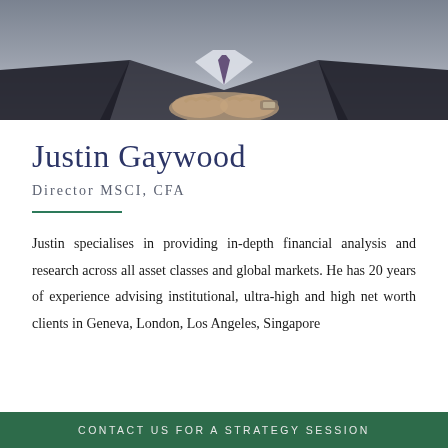[Figure (photo): Photo of Justin Gaywood showing folded hands in business attire with a watch visible]
Justin Gaywood
Director MSCI, CFA
Justin specialises in providing in-depth financial analysis and research across all asset classes and global markets. He has 20 years of experience advising institutional, ultra-high and high net worth clients in Geneva, London, Los Angeles, Singapore
CONTACT US FOR A STRATEGY SESSION